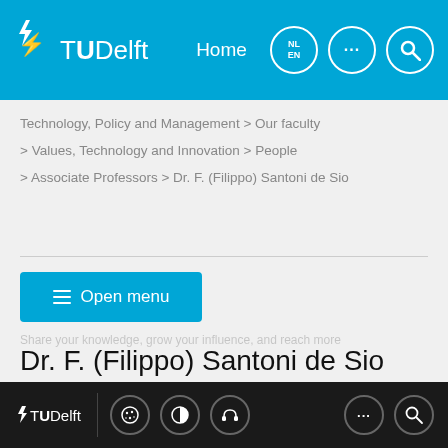TUDelft | Home | NL EN | ... | Search
Technology, Policy and Management > Our faculty
> Values, Technology and Innovation > People
> Associate Professors > Dr. F. (Filippo) Santoni de Sio
Open menu
Dr. F. (Filippo) Santoni de Sio
Profile
TUDelft footer with icons